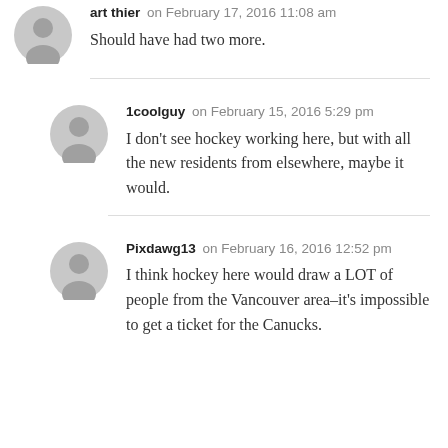art thier on February 17, 2016 11:08 am
Should have had two more.
1coolguy on February 15, 2016 5:29 pm
I don't see hockey working here, but with all the new residents from elsewhere, maybe it would.
Pixdawg13 on February 16, 2016 12:52 pm
I think hockey here would draw a LOT of people from the Vancouver area–it's impossible to get a ticket for the Canucks.